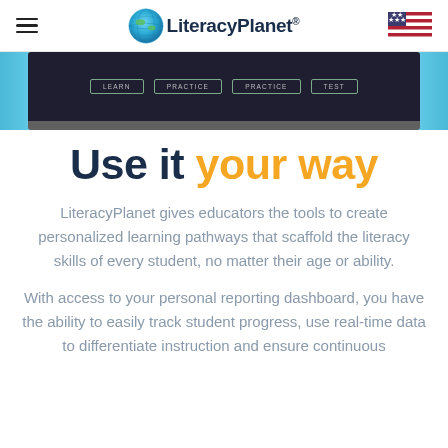LiteracyPlanet® [hamburger menu] [US flag]
[Figure (screenshot): Partial view of a laptop showing a dark interface with navigation buttons labeled LEARN, PRACTICE, PRACTICE, TEST]
Use it your way
LiteracyPlanet gives educators the tools to create personalized learning pathways that scaffold the literacy skills of every student, no matter their age or ability.
With access to your personal reporting dashboard, you have the ability to easily track student progress, use real-time data to differentiate instruction and ensure continuous